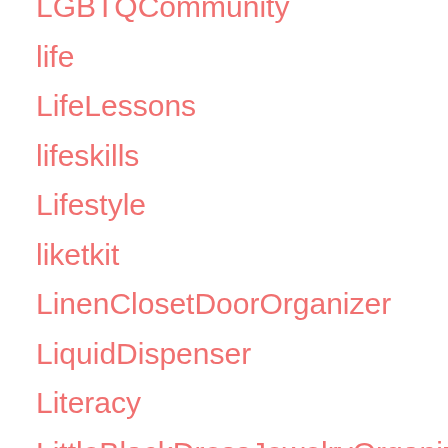LGBTQCommunity
life
LifeLessons
lifeskills
Lifestyle
liketkit
LinenClosetDoorOrganizer
LiquidDispenser
Literacy
LittleBlackDressJewelryOrganizerTarget
livecolorfully
livesimply
Living
LivingRoom
livingroominspo